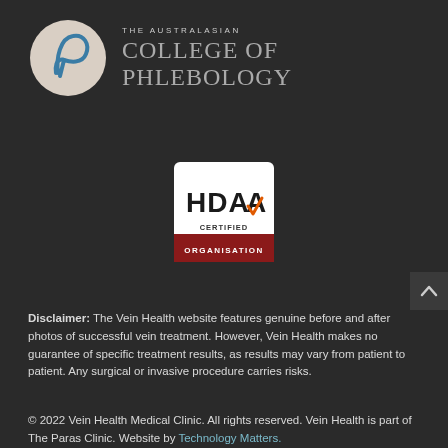[Figure (logo): The Australasian College of Phlebology logo: a circular emblem with a stylized P on a beige background, beside serif text reading 'THE AUSTRALASIAN COLLEGE OF PHLEBOLOGY']
[Figure (logo): HDAA Certified Organisation badge: white square with HDAA in bold black with an orange checkmark, 'CERTIFIED' below, and a dark red banner reading 'ORGANISATION']
[Figure (other): Dark grey scroll-to-top button with an upward-pointing caret/chevron icon]
Disclaimer: The Vein Health website features genuine before and after photos of successful vein treatment. However, Vein Health makes no guarantee of specific treatment results, as results may vary from patient to patient. Any surgical or invasive procedure carries risks.
© 2022 Vein Health Medical Clinic. All rights reserved. Vein Health is part of The Paras Clinic. Website by Technology Matters.